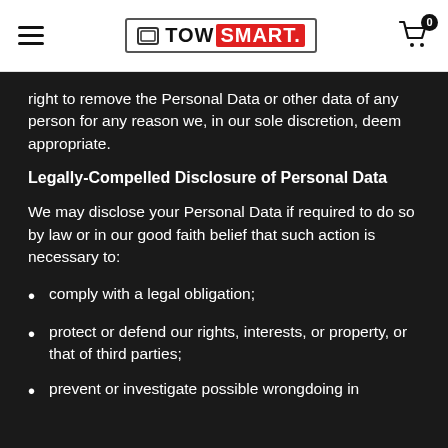TOW SMART
right to remove the Personal Data or other data of any person for any reason we, in our sole discretion, deem appropriate.
Legally-Compelled Disclosure of Personal Data
We may disclose your Personal Data if required to do so by law or in our good faith belief that such action is necessary to:
comply with a legal obligation;
protect or defend our rights, interests, or property, or that of third parties;
prevent or investigate possible wrongdoing in